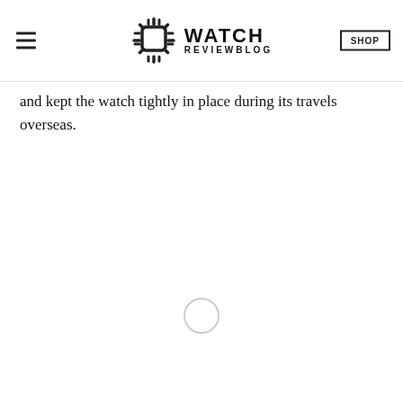WATCH REVIEWBLOG | SHOP
and kept the watch tightly in place during its travels overseas.
[Figure (other): A loading spinner circle (light gray outline circle, indicating content loading)]